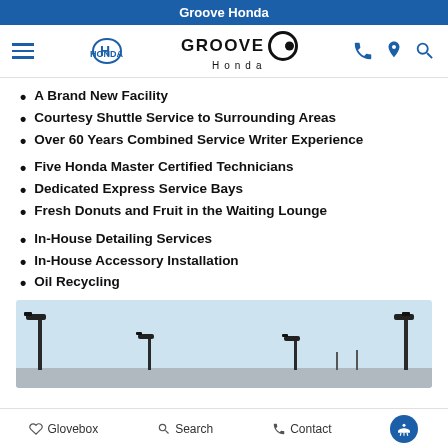Groove Honda
[Figure (logo): Groove Honda navigation bar with hamburger menu, Honda logo, Groove Honda logo, phone icon, location pin icon, and search icon]
A Brand New Facility
Courtesy Shuttle Service to Surrounding Areas
Over 60 Years Combined Service Writer Experience
Five Honda Master Certified Technicians
Dedicated Express Service Bays
Fresh Donuts and Fruit in the Waiting Lounge
In-House Detailing Services
In-House Accessory Installation
Oil Recycling
[Figure (photo): Outdoor photo of parking lot with lamp posts against a light blue sky]
Glovebox   Search   Contact   [Accessibility]